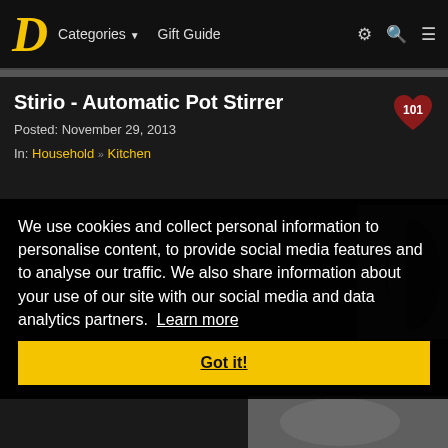D  Categories ▼  Gift Guide
Stirio - Automatic Pot Stirrer
Posted: November 29, 2013
In: Household » Kitchen
We use cookies and collect personal information to personalise content, to provide social media features and to analyse our traffic. We also share information about your use of our site with our social media and data analytics partners. Learn more
Got it!
[Figure (photo): Photo of a pot stirrer device in a cooking pot]